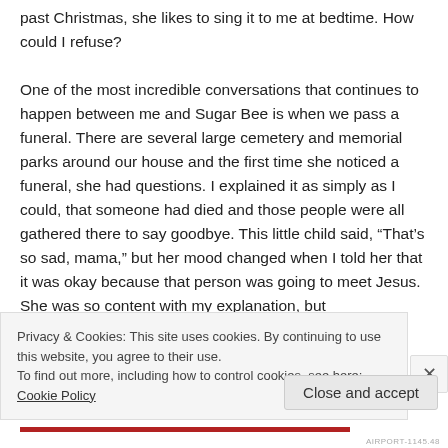past Christmas, she likes to sing it to me at bedtime. How could I refuse?

One of the most incredible conversations that continues to happen between me and Sugar Bee is when we pass a funeral. There are several large cemetery and memorial parks around our house and the first time she noticed a funeral, she had questions. I explained it as simply as I could, that someone had died and those people were all gathered there to say goodbye. This little child said, “That’s so sad, mama,” but her mood changed when I told her that it was okay because that person was going to meet Jesus. She was so content with my explanation, but
Privacy & Cookies: This site uses cookies. By continuing to use this website, you agree to their use.
To find out more, including how to control cookies, see here: Cookie Policy
Close and accept